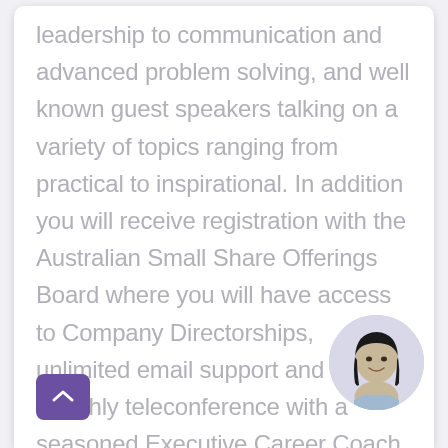leadership to communication and advanced problem solving, and well known guest speakers talking on a variety of topics ranging from practical to inspirational. In addition you will receive registration with the Australian Small Share Offerings Board where you will have access to Company Directorships, unlimited email support and a monthly teleconference with a seasoned Executive Career Coach. Take advantage of decades of industry experience, and leverage the proven track record of thousands of careers that our team have helped to manage across the globe. You will also access to an exclusive members-only forum
[Figure (photo): Circular portrait photo of a young woman with long dark hair, smiling, positioned at bottom right of the page]